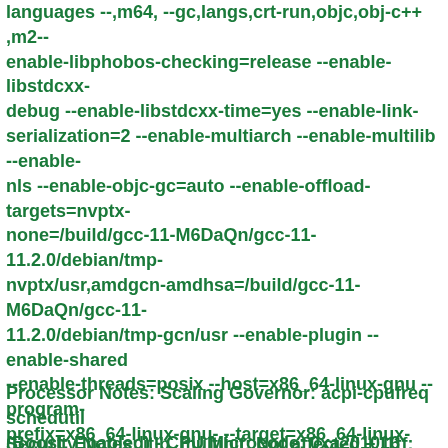languages --,m64, --gc,langs,crt-run,objc,obj-c++ ,m2-- enable-libphobos-checking=release --enable-libstdcxx-debug --enable-libstdcxx-time=yes --enable-link-serialization=2 --enable-multiarch --enable-multilib --enable-nls --enable-objc-gc=auto --enable-offload-targets=nvptx-none=/build/gcc-11-M6DaQn/gcc-11-11.2.0/debian/tmp-nvptx/usr,amdgcn-amdhsa=/build/gcc-11-M6DaQn/gcc-11-11.2.0/debian/tmp-gcn/usr --enable-plugin --enable-shared --enable-threads=posix --host=x86_64-linux-gnu --program-prefix=x86_64-linux-gnu- --target=x86_64-linux-gnu --with-abi=m64 --with-arch-32=i686 --with-build-config=bootstrap-lto-lean --with-default-libstdcxx-abi=new --with-gcc-major-version-only --with-multilib-list=m32,m64,mx32 --with-target-system-zlib=auto --with-tune=generic --without-cuda-driver -v
Processor Notes: Scaling Governor: acpi-cpufreq schedutil (Boost: Enabled) - CPU Microcode: 0xa201016
Security Notes: itlb_multihit: Not affected + l1tf: Not